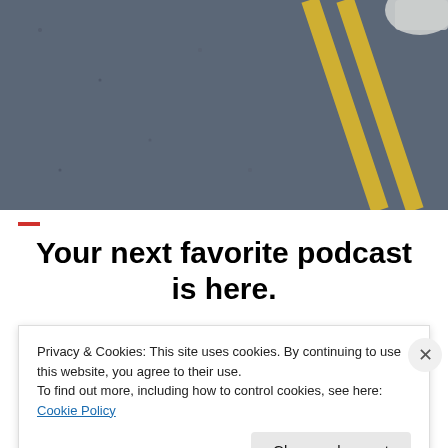[Figure (photo): Aerial view of asphalt pavement with yellow double lane markings and a white sneaker shoe visible at the top right corner]
Your next favorite podcast is here.
[Figure (screenshot): App screenshots showing podcast app interface with 'Up Next' queue on two overlapping iPhone screens, with blue decorative play button icon and blue rounded rectangle in background]
Privacy & Cookies: This site uses cookies. By continuing to use this website, you agree to their use.
To find out more, including how to control cookies, see here: Cookie Policy
Close and accept